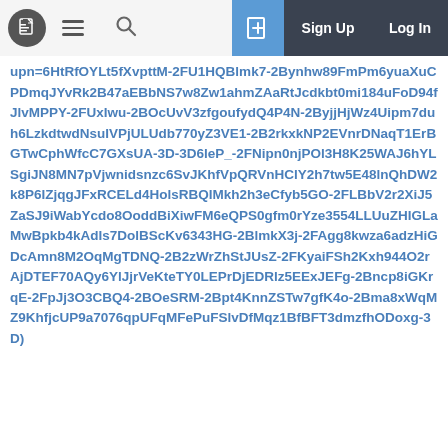Navigation bar with document icon, hamburger menu, search icon, new document button, Sign Up, Log In
upn=6HtRfOYLt5fXvpttM-2FU1HQBlmk7-2Bynhw89FmPm6yuaXuCPDmqJYvRk2B47aEBbNS7w8Zw1ahmZAaRtJcdkbt0mi184uFoD94fJlvMPPY-2FUxIwu-2BOcUvV3zfgoufydQ4P4N-2ByjjHjWz4Uipm7duh6LzkdtwdNsuIVPjULUdb770yZ3VE1-2B2rkxkNP2EVnrDNaqT1ErBGTwCphWfcC7GXsUA-3D-3D6leP_-2FNipn0njPOl3H8K25WAJ6hYLSgiJN8MN7pVjwnidsnzc6SvJKhfVpQRVnHClY2h7tw5E48lnQhDW2k8P6IZjqgJFxRCELd4HolsRBQIMkh2h3eCfyb5GO-2FLBbV2r2XiJ5ZaSJ9iWabYcdo8OoddBiXiwFM6eQPS0gfm0rYze3554LLUuZHIGLaMwBpkb4kAdIs7DolBScKv6343HG-2BlmkX3j-2FAgg8kwza6adzHiGDcAmn8M2OqMgTDNQ-2B2zWrZhStJUsZ-2FKyaiFSh2Kxh944O2rAjDTEF70AQy6YlJjrVeKteTY0LEPrDjEDRlz5EExJEFg-2Bncp8iGKrqE-2FpJj3O3CBQ4-2BOeSRM-2Bpt4KnnZSTw7gfK4o-2Bma8xWqMZ9KhfjcUP9a7076qpUFqMFePuFSlvDfMqz1BfBFT3dmzfhODoxg-3D)